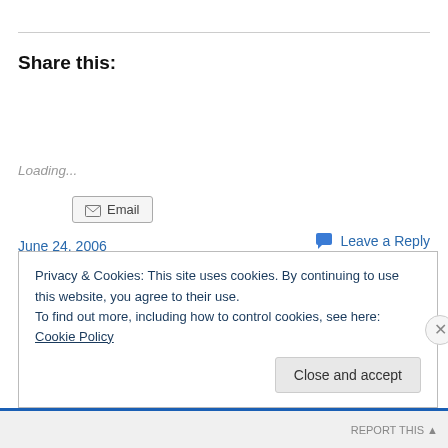Share this:
Email
Loading...
June 24, 2006
Leave a Reply
Privacy & Cookies: This site uses cookies. By continuing to use this website, you agree to their use.
To find out more, including how to control cookies, see here: Cookie Policy
Close and accept